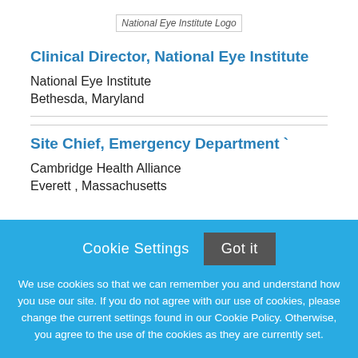[Figure (logo): National Eye Institute Logo]
Clinical Director, National Eye Institute
National Eye Institute
Bethesda, Maryland
Site Chief, Emergency Department `
Cambridge Health Alliance
Everett , Massachusetts
Cookie Settings  Got it

We use cookies so that we can remember you and understand how you use our site. If you do not agree with our use of cookies, please change the current settings found in our Cookie Policy. Otherwise, you agree to the use of the cookies as they are currently set.